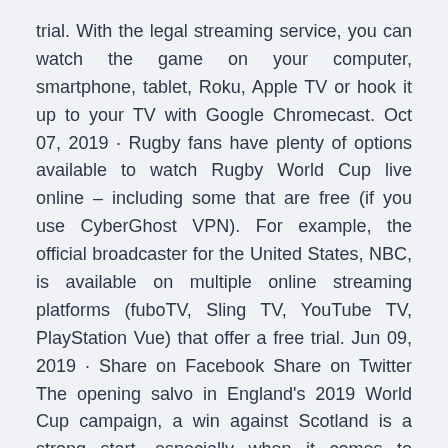trial. With the legal streaming service, you can watch the game on your computer, smartphone, tablet, Roku, Apple TV or hook it up to your TV with Google Chromecast. Oct 07, 2019 · Rugby fans have plenty of options available to watch Rugby World Cup live online – including some that are free (if you use CyberGhost VPN). For example, the official broadcaster for the United States, NBC, is available on multiple online streaming platforms (fuboTV, Sling TV, YouTube TV, PlayStation Vue) that offer a free trial. Jun 09, 2019 · Share on Facebook Share on Twitter The opening salvo in England's 2019 World Cup campaign, a win against Scotland is a strong start, especially when it comes to showing we're better than those north of the wall. Our guide reveals everything you need to know to watch the England vs Scotland game on TV and online [...]